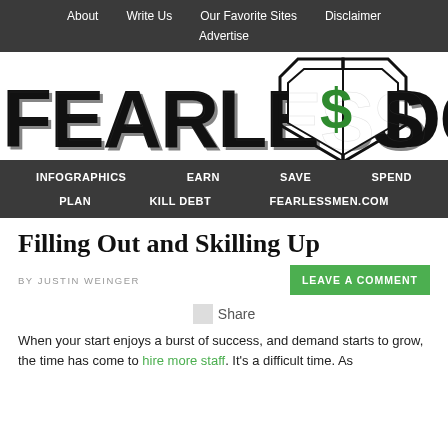About | Write Us | Our Favorite Sites | Disclaimer | Advertise
[Figure (logo): Fearless Dollar logo with large bold text and green dollar sign shield emblem]
INFOGRAPHICS | EARN | SAVE | SPEND | PLAN | KILL DEBT | FEARLESSMEN.COM
Filling Out and Skilling Up
BY JUSTIN WEINGER
LEAVE A COMMENT
Share
When your start enjoys a burst of success, and demand starts to grow, the time has come to hire more staff. It's a difficult time. As